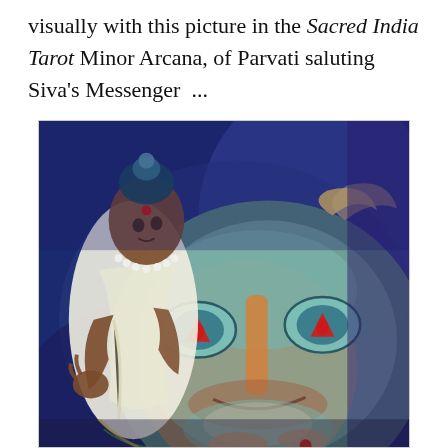visually with this picture in the Sacred India Tarot Minor Arcana, of Parvati saluting Siva's Messenger  ...
[Figure (illustration): A colorful painting from the Sacred India Tarot showing two figures: a male figure (Siva's Messenger) in the upper left wearing white robes and a bead necklace, with elaborate hair ornamentation, and a large close-up face in the foreground with blue-tinted skin, prominent eyes with red triangular pupils, an orange-tinted face, and a crescent moon above. The background is deep blue/indigo. The style is vivid, painterly Indian art.]